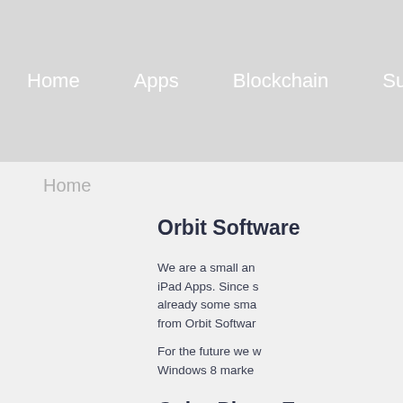Home   Apps   Blockchain   Supp
Home
Orbit Software
We are a small an iPad Apps. Since s already some sma from Orbit Softwar
For the future we w Windows 8 marke
Color Photo E